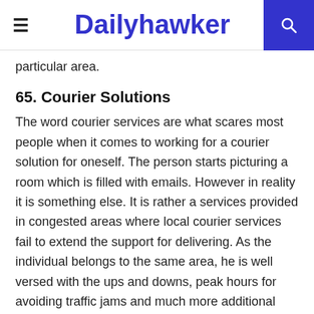Dailyhawker
particular area.
65. Courier Solutions
The word courier services are what scares most people when it comes to working for a courier solution for oneself. The person starts picturing a room which is filled with emails. However in reality it is something else. It is rather a services provided in congested areas where local courier services fail to extend the support for delivering. As the individual belongs to the same area, he is well versed with the ups and downs, peak hours for avoiding traffic jams and much more additional information. Hence this information could help a person to generate a firm source of income.
66. Mentorship/Guidance